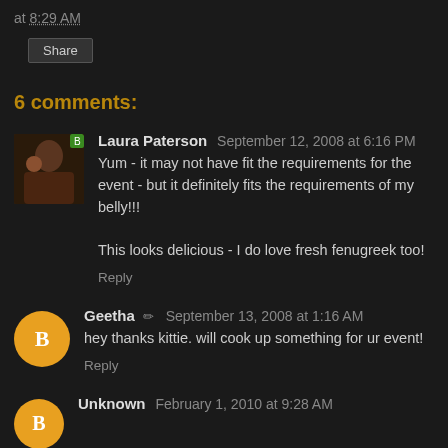at 8:29 AM
Share
6 comments:
Laura Paterson September 12, 2008 at 6:16 PM
Yum - it may not have fit the requirements for the event - but it definitely fits the requirements of my belly!!!

This looks delicious - I do love fresh fenugreek too!
Reply
Geetha September 13, 2008 at 1:16 AM
hey thanks kittie. will cook up something for ur event!
Reply
Unknown February 1, 2010 at 9:28 AM